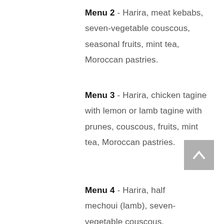Menu 2 - Harira, meat kebabs, seven-vegetable couscous, seasonal fruits, mint tea, Moroccan pastries.
Menu 3 - Harira, chicken tagine with lemon or lamb tagine with prunes, couscous, fruits, mint tea, Moroccan pastries.
Menu 4 - Harira, half mechoui (lamb), seven-vegetable couscous, seasonal fruits, mint tea,